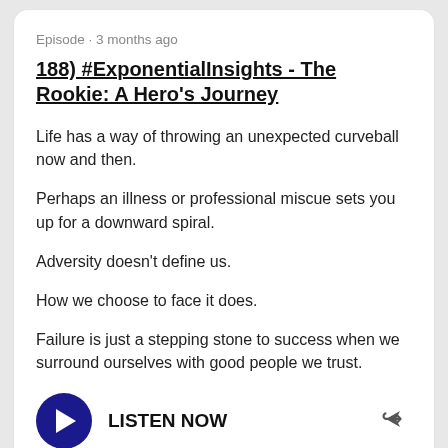Episode · 3 months ago
188) #ExponentialInsights - The Rookie: A Hero's Journey
Life has a way of throwing an unexpected curveball now and then.
Perhaps an illness or professional miscue sets you up for a downward spiral.
Adversity doesn't define us.
How we choose to face it does.
Failure is just a stepping stone to success when we surround ourselves with good people we trust.
[Figure (other): Play button (dark blue circle with white triangle) and LISTEN NOW label with share icon]
Episode · 4 months ago